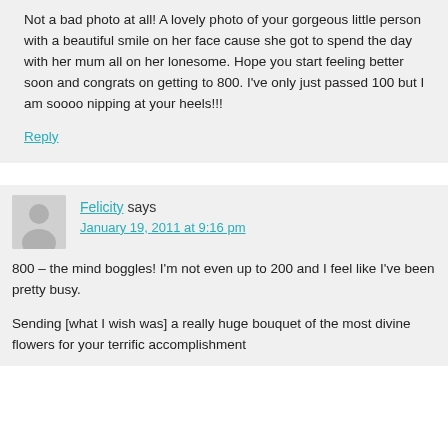Not a bad photo at all! A lovely photo of your gorgeous little person with a beautiful smile on her face cause she got to spend the day with her mum all on her lonesome. Hope you start feeling better soon and congrats on getting to 800. I've only just passed 100 but I am soooo nipping at your heels!!!
Reply
Felicity says
January 19, 2011 at 9:16 pm
800 – the mind boggles! I'm not even up to 200 and I feel like I've been pretty busy.
Sending [what I wish was] a really huge bouquet of the most divine flowers for your terrific accomplishment